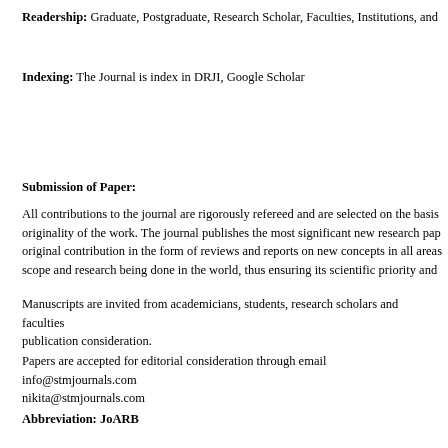Readership: Graduate, Postgraduate, Research Scholar, Faculties, Institutions, and
Indexing: The Journal is index in DRJI, Google Scholar
Submission of Paper:
All contributions to the journal are rigorously refereed and are selected on the basis originality of the work. The journal publishes the most significant new research pap original contribution in the form of reviews and reports on new concepts in all areas scope and research being done in the world, thus ensuring its scientific priority and
Manuscripts are invited from academicians, students, research scholars and faculties publication consideration.
Papers are accepted for editorial consideration through email info@stmjournals.com nikita@stmjournals.com
Abbreviation: JoARB